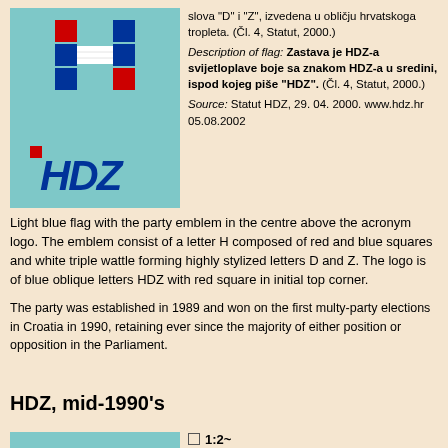[Figure (illustration): HDZ party flag image: light blue rectangle with HDZ emblem (letter H made of red and blue squares with white triple wattle) at top and HDZ italic logo at bottom.]
slova "D" i "Z", izvedena u obličju hrvatskoga tropleta. (Čl. 4, Statut, 2000.) Description of flag: Zastava je HDZ-a svijetloplave boje sa znakom HDZ-a u sredini, ispod kojeg piše "HDZ". (Čl. 4, Statut, 2000.) Source: Statut HDZ, 29. 04. 2000. www.hdz.hr 05.08.2002
Light blue flag with the party emblem in the centre above the acronym logo. The emblem consist of a letter H composed of red and blue squares and white triple wattle forming highly stylized letters D and Z. The logo is of blue oblique letters HDZ with red square in initial top corner.
The party was established in 1989 and won on the first multy-party elections in Croatia in 1990, retaining ever since the majority of either position or opposition in the Parliament.
HDZ, mid-1990's
[Figure (illustration): HDZ mid-1990s flag: light blue rectangle.]
□ 1:2~
Adopted: late 1990's